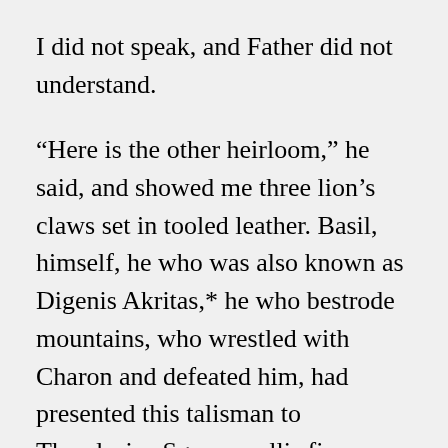I did not speak, and Father did not understand.
“Here is the other heirloom,” he said, and showed me three lion’s claws set in tooled leather. Basil, himself, he who was also known as Digenis Akritas,* he who bestrode mountains, who wrestled with Charon and defeated him, had presented this talisman to Theodosios Sgouromallis five hundred years ago, “Here, it’s all written down,” he said, and opened the timeworn parchment.
It said that Theodosios went to find